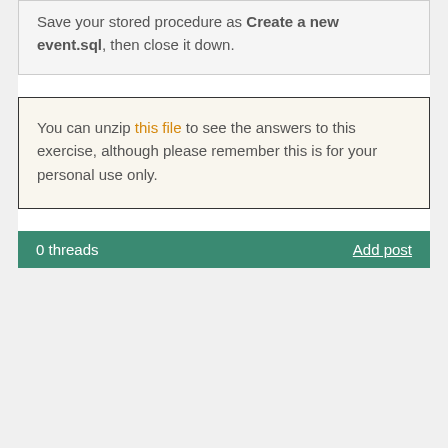Save your stored procedure as Create a new event.sql, then close it down.
You can unzip this file to see the answers to this exercise, although please remember this is for your personal use only.
0 threads   Add post